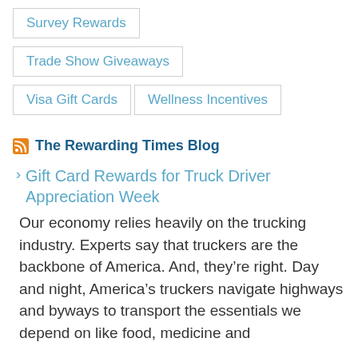Survey Rewards
Trade Show Giveaways
Visa Gift Cards
Wellness Incentives
The Rewarding Times Blog
Gift Card Rewards for Truck Driver Appreciation Week
Our economy relies heavily on the trucking industry. Experts say that truckers are the backbone of America. And, they're right. Day and night, America's truckers navigate highways and byways to transport the essentials we depend on like food, medicine and